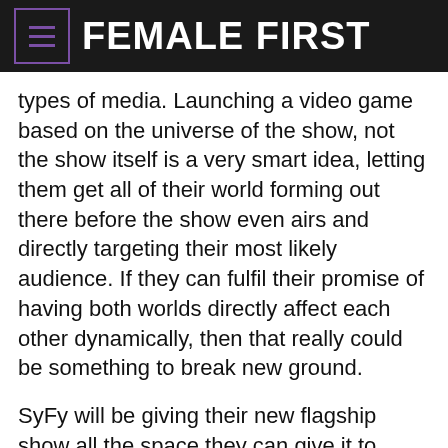FEMALE FIRST
types of media. Launching a video game based on the universe of the show, not the show itself is a very smart idea, letting them get all of their world forming out there before the show even airs and directly targeting their most likely audience. If they can fulfil their promise of having both worlds directly affect each other dynamically, then that really could be something to break new ground.
SyFy will be giving their new flagship show all the space they can give it to grow and with a second series already scheduled to start filming this summer, it seems like the show won't be replicating the sticky fate that awaited Firefly. If the show can continue to merge the spirit of that illustrious show with its own futuristic family feud, then SyFy could be on to a real winner.
Defiance airs of SyFy at 9pm